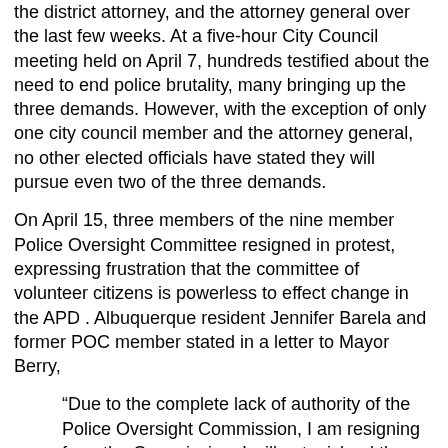the district attorney, and the attorney general over the last few weeks. At a five-hour City Council meeting held on April 7, hundreds testified about the need to end police brutality, many bringing up the three demands. However, with the exception of only one city council member and the attorney general, no other elected officials have stated they will pursue even two of the three demands.
On April 15, three members of the nine member Police Oversight Committee resigned in protest, expressing frustration that the committee of volunteer citizens is powerless to effect change in the APD . Albuquerque resident Jennifer Barela and former POC member stated in a letter to Mayor Berry,
“Due to the complete lack of authority of the Police Oversight Commission, I am resigning from the Commission. I will not mislead the citizens of Albuquerque into believing that our City has any civilian oversight. I hope the City Council passes legislation to completely reform the current Police Oversight Commission Ordinance to insure that our City has true independent civilian oversight of the Albuquerque Police Department.”6
David Garcia summed up the deep feelings people